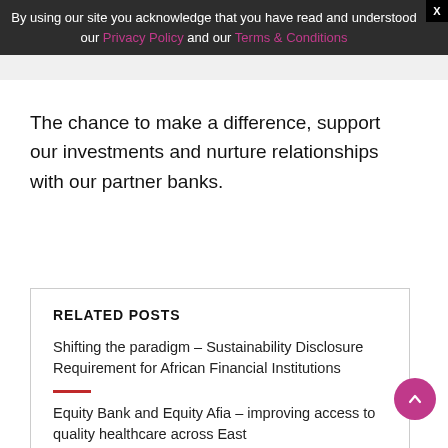By using our site you acknowledge that you have read and understood our Privacy Policy and our Terms & Conditions
The chance to make a difference, support our investments and nurture relationships with our partner banks.
RELATED POSTS
Shifting the paradigm – Sustainability Disclosure Requirement for African Financial Institutions
Equity Bank and Equity Afia – improving access to quality healthcare across East